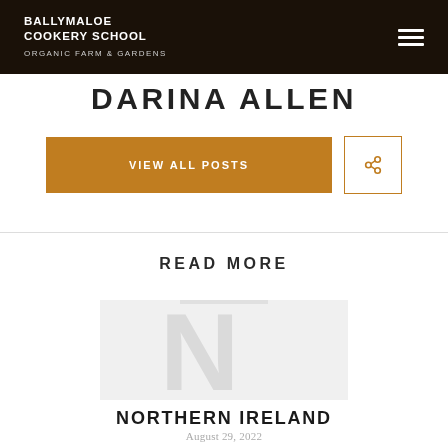BALLYMALOE COOKERY SCHOOL ORGANIC FARM & GARDENS
DARINA ALLEN
VIEW ALL POSTS
READ MORE
NORTHERN IRELAND
August 29, 2022